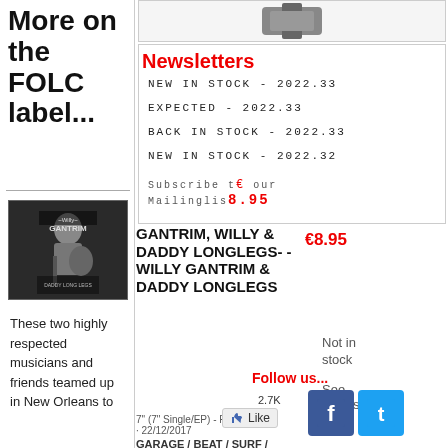More on the FOLC label...
[Figure (photo): Album cover photo: black and white image of musician with guitar, Willy Gantrim album]
Newsletters
NEW IN STOCK - 2022.33
EXPECTED - 2022.33
BACK IN STOCK - 2022.33
NEW IN STOCK - 2022.32
Subscribe to our Mailinglist
GANTRIM, WILLY & DADDY LONGLEGS - - WILLY GANTRIM & DADDY LONGLEGS
€8.95
Not in stock
See details
Follow us...
7" (7" Single/EP) - FOLC - 22/12/2017
GARAGE / BEAT / SURF / ROCK'N'ROLL
These two highly respected musicians and friends teamed up in New Orleans to